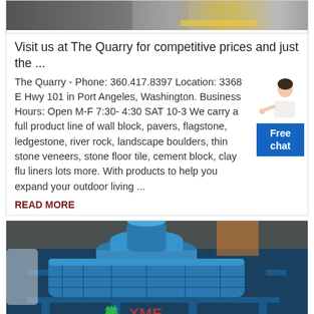[Figure (photo): Top portion of a photo of industrial/stone equipment or material, partially cropped]
Visit us at The Quarry for competitive prices and just the ...
The Quarry - Phone: 360.417.8397 Location: 3368 E Hwy 101 in Port Angeles, Washington. Business Hours: Open M-F 7:30- 4:30 SAT 10-3 We carry a full product line of wall block, pavers, flagstone, ledgestone, river rock, landscape boulders, thin stone veneers, stone floor tile, cement block, clay flu liners lots more. With products to help you expand your outdoor living ...
READ MORE
[Figure (photo): Industrial blue mining/crushing equipment with XME Mining Equipment logo watermark at the bottom]